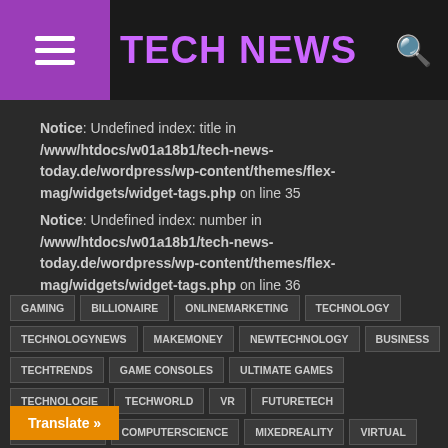TECH NEWS
Notice: Undefined index: title in /www/htdocs/w01a18b1/tech-news-today.de/wordpress/wp-content/themes/flex-mag/widgets/widget-tags.php on line 35
Notice: Undefined index: number in /www/htdocs/w01a18b1/tech-news-today.de/wordpress/wp-content/themes/flex-mag/widgets/widget-tags.php on line 36
GAMING
BILLIONAIRE
ONLINEMARKETING
TECHNOLOGY
TECHNOLOGYNEWS
MAKEMONEY
NEWTECHNOLOGY
BUSINESS
TECHTRENDS
GAME CONSOLES
ULTIMATE GAMES
TECHNOLOGIE
TECHWORLD
VR
FUTURETECH
ENGINEERING
COMPUTERSCIENCE
MIXEDREALITY
VIRTUAL
VIRTUALREALITYGAMES
VRGAME
VRGAMING
VIRTUAL REALITY
INNOVATION
ELECTRONICS
DAYS
FEATURED
PROGRAMMER
Translate »